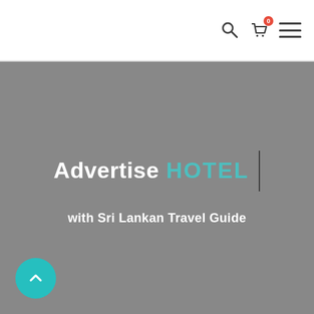Navigation bar with search, cart (0), and menu icons
Advertise HOTEL
with Sri Lankan Travel Guide
[Figure (illustration): Teal circular back-to-top button with upward chevron arrow at bottom-left of hero section]